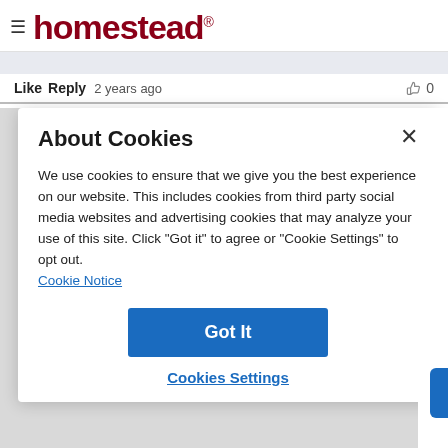homestead®
Like  Reply  2 years ago  0
About Cookies
We use cookies to ensure that we give you the best experience on our website. This includes cookies from third party social media websites and advertising cookies that may analyze your use of this site. Click "Got it" to agree or "Cookie Settings" to opt out.
Cookie Notice
Got It
Cookies Settings